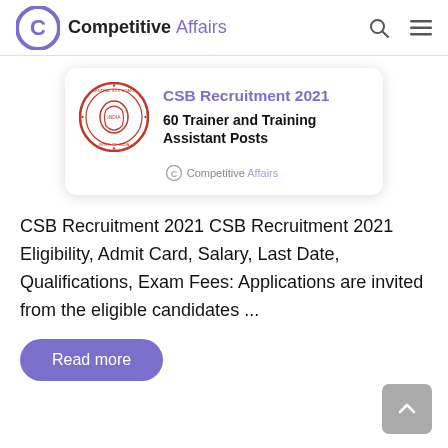Competitive Affairs
[Figure (infographic): CSB Recruitment 2021 banner card with Central Silk Board seal logo, title 'CSB Recruitment 2021' in purple, subtitle '60 Trainer and Training Assistant Posts' in bold black, and Competitive Affairs logo at the bottom.]
CSB Recruitment 2021 CSB Recruitment 2021 Eligibility, Admit Card, Salary, Last Date, Qualifications, Exam Fees: Applications are invited from the eligible candidates ...
Read more